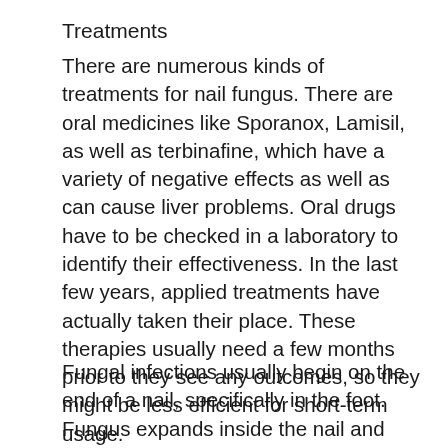Treatments
There are numerous kinds of treatments for nail fungus. There are oral medicines like Sporanox, Lamisil, as well as terbinafine, which have a variety of negative effects as well as can cause liver problems. Oral drugs have to be checked in a laboratory to identify their effectiveness. In the last few years, applied treatments have actually taken their place. These therapies usually need a few months prior to they see any outcomes, so they might be less efficient for short-term usage.
Fungal infections usually begin on the end of a nail, specifically in the foot. Fungus expands inside the nail and can go into fractures or cuts in the skin. The infection